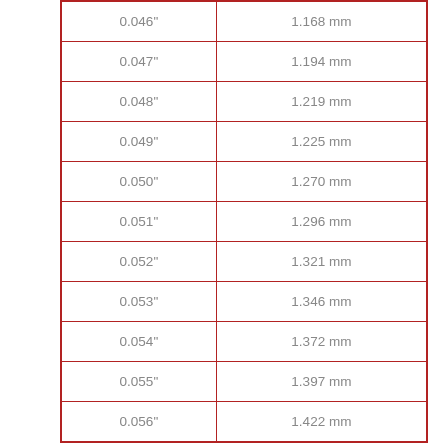| 0.046" | 1.168 mm |
| 0.047" | 1.194 mm |
| 0.048" | 1.219 mm |
| 0.049" | 1.225 mm |
| 0.050" | 1.270 mm |
| 0.051" | 1.296 mm |
| 0.052" | 1.321 mm |
| 0.053" | 1.346 mm |
| 0.054" | 1.372 mm |
| 0.055" | 1.397 mm |
| 0.056" | 1.422 mm |